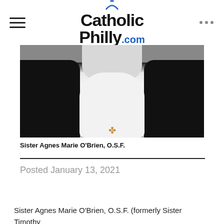CatholicPhilly.com
[Figure (photo): Close-up photo of Sister Agnes Marie O'Brien wearing a black jacket over a white ruffled blouse with a gold cross pin]
Sister Agnes Marie O'Brien, O.S.F.
Posted January 13, 2021
Sister Agnes Marie O'Brien, O.S.F. (formerly Sister Timothy